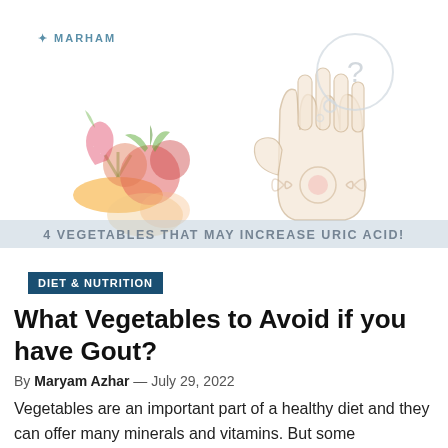[Figure (illustration): Illustration showing vegetables (tomatoes, carrots, strawberries) on the left and a cartoon hand with a question mark speech bubble on the right, on a light background. Text overlay reads '4 VEGETABLES THAT MAY INCREASE URIC ACID!' in a semi-transparent banner. Marham logo/text in top left.]
DIET & NUTRITION
What Vegetables to Avoid if you have Gout?
By Maryam Azhar — July 29, 2022
Vegetables are an important part of a healthy diet and they can offer many minerals and vitamins. But some vegetables...